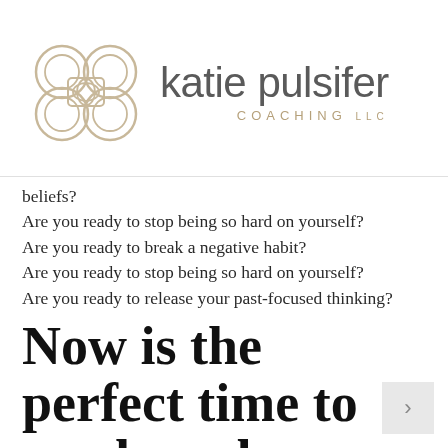[Figure (logo): Katie Pulsifer Coaching LLC logo with ornate floral/geometric emblem in gold/taupe and lowercase sans-serif text 'katie pulsifer' with 'COACHING LLC' beneath in spaced gold capitals]
beliefs?
Are you ready to stop being so hard on yourself?
Are you ready to break a negative habit?
Are you ready to stop being so hard on yourself?
Are you ready to release your past-focused thinking?
Now is the perfect time to awaken change within your mind to